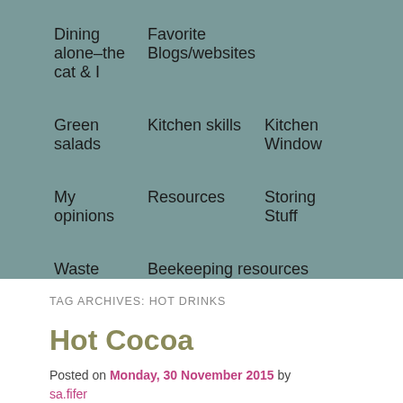Dining alone–the cat & I
Favorite Blogs/websites
Green salads
Kitchen skills
Kitchen Window
My opinions
Resources
Storing Stuff
Waste not….
Beekeeping resources (favorites)
TAG ARCHIVES: HOT DRINKS
Hot Cocoa
Posted on Monday, 30 November 2015 by sa.fifer
It's been a chilly, damp, drippy Monday–the kind of day that takes an inordinate amount of caffeine to achieve a minimally functional state. The day's to-do list included taking the cat to the vet. Of course it was raining  when I toted Frankie out to the car, and it was raining when we